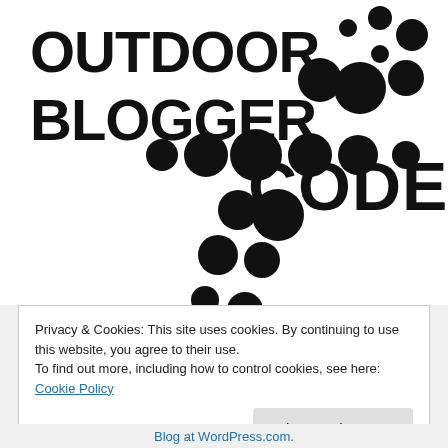[Figure (logo): Outdoor Blogger Codex logo with bold text 'OUTDOOR BLOGGER' on left, 'CODEX' on right, and a decorative dot/circle pattern in the center forming a diagonal scatter pattern]
Privacy & Cookies: This site uses cookies. By continuing to use this website, you agree to their use.
To find out more, including how to control cookies, see here: Cookie Policy
Blog at WordPress.com.